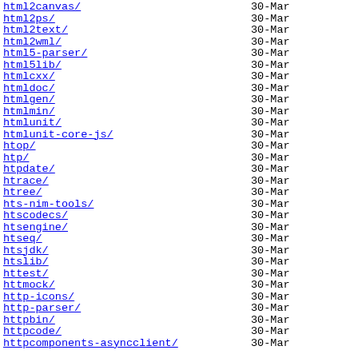html2canvas/   30-Mar
html2ps/   30-Mar
html2text/   30-Mar
html2wml/   30-Mar
html5-parser/   30-Mar
html5lib/   30-Mar
htmlcxx/   30-Mar
htmldoc/   30-Mar
htmlgen/   30-Mar
htmlmin/   30-Mar
htmlunit/   30-Mar
htmlunit-core-js/   30-Mar
htop/   30-Mar
htp/   30-Mar
htpdate/   30-Mar
htrace/   30-Mar
htree/   30-Mar
hts-nim-tools/   30-Mar
htscodecs/   30-Mar
htsengine/   30-Mar
htseq/   30-Mar
htsjdk/   30-Mar
htslib/   30-Mar
httest/   30-Mar
httmock/   30-Mar
http-icons/   30-Mar
http-parser/   30-Mar
httpbin/   30-Mar
httpcode/   30-Mar
httpcomponents-asyncclient/   30-Mar